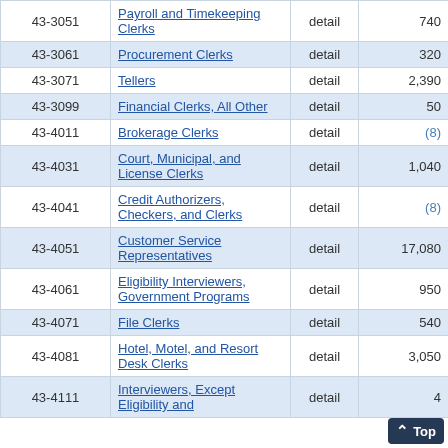| Code | Occupation | Level | Employment | ... |
| --- | --- | --- | --- | --- |
| 43-3051 | Payroll and Timekeeping Clerks | detail | 740 |  |
| 43-3061 | Procurement Clerks | detail | 320 |  |
| 43-3071 | Tellers | detail | 2,390 |  |
| 43-3099 | Financial Clerks, All Other | detail | 50 |  |
| 43-4011 | Brokerage Clerks | detail | (8) |  |
| 43-4031 | Court, Municipal, and License Clerks | detail | 1,040 |  |
| 43-4041 | Credit Authorizers, Checkers, and Clerks | detail | (8) |  |
| 43-4051 | Customer Service Representatives | detail | 17,080 |  |
| 43-4061 | Eligibility Interviewers, Government Programs | detail | 950 |  |
| 43-4071 | File Clerks | detail | 540 |  |
| 43-4081 | Hotel, Motel, and Resort Desk Clerks | detail | 3,050 |  |
| 43-4111 | Interviewers, Except Eligibility and ... | detail | 4... |  |